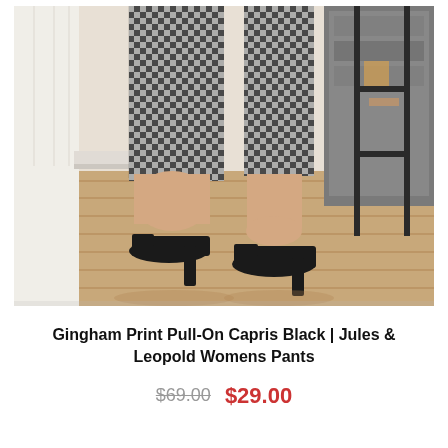[Figure (photo): Woman's lower body wearing black and white gingham check cropped capri pants and black open-toe block heel mule sandals, standing on light wood flooring. A grey upholstered chair and dark metal shelving unit are visible in the background.]
Gingham Print Pull-On Capris Black | Jules & Leopold Womens Pants
$69.00  $29.00